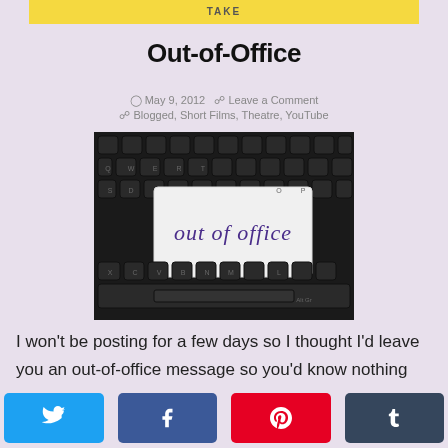[Figure (photo): Yellow sticky-note style top image strip with TAKE text visible]
Out-of-Office
May 9, 2012   Leave a Comment
Blogged, Short Films, Theatre, YouTube
[Figure (photo): Photo of a computer keyboard with a card on top that reads 'out of office' in handwritten script]
I won't be posting for a few days so I thought I'd leave you an out-of-office message so you'd know nothing was wrong – I have coping strategies in